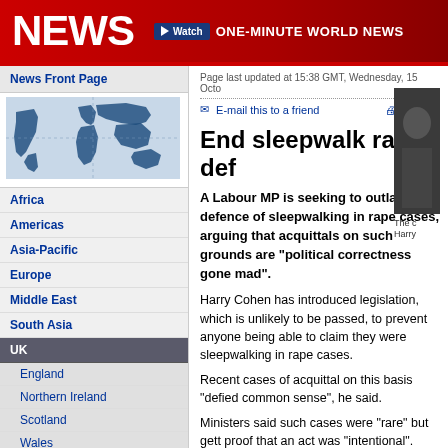NEWS | ONE-MINUTE WORLD NEWS
News Front Page
Africa
Americas
Asia-Pacific
Europe
Middle East
South Asia
UK
England
Northern Ireland
Scotland
Wales
UK Politics
Education
Magazine
Business
Page last updated at 15:38 GMT, Wednesday, 15 Octo
E-mail this to a friend   Printabl
End sleepwalk rape def
A Labour MP is seeking to outlaw the defence of sleepwalking in rape cases, arguing that acquittals on such grounds are "political correctness gone mad".
Harry Cohen has introduced legislation, which is unlikely to be passed, to prevent anyone being able to claim they were sleepwalking in rape cases.
Recent cases of acquittal on this basis "defied common sense", he said.
Ministers said such cases were "rare" but gett proof that an act was "intentional".
The c Harry